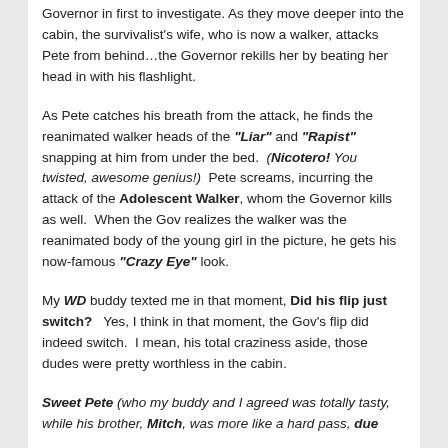Governor in first to investigate. As they move deeper into the cabin, the survivalist's wife, who is now a walker, attacks Pete from behind…the Governor rekills her by beating her head in with his flashlight.
As Pete catches his breath from the attack, he finds the reanimated walker heads of the "Liar" and "Rapist" snapping at him from under the bed. (Nicotero! You twisted, awesome genius!) Pete screams, incurring the attack of the Adolescent Walker, whom the Governor kills as well. When the Gov realizes the walker was the reanimated body of the young girl in the picture, he gets his now-famous "Crazy Eye" look.
My WD buddy texted me in that moment, Did his flip just switch? Yes, I think in that moment, the Gov's flip did indeed switch. I mean, his total craziness aside, those dudes were pretty worthless in the cabin.
Sweet Pete (who my buddy and I agreed was totally tasty, while his brother, Mitch, was more like a hard pass, due